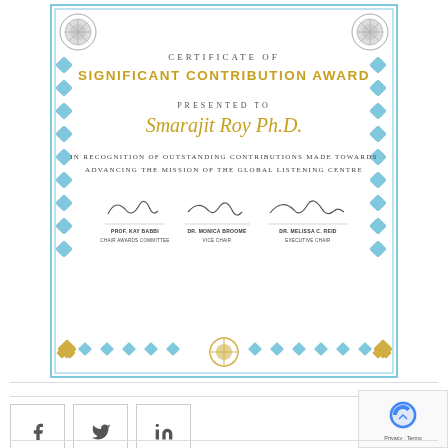[Figure (illustration): Certificate of Significant Contribution Award presented to Smarajit Roy Ph.D., with decorative blue and gold border, ornamental corners, three signature blocks, and ornamental bottom border.]
CERTIFICATE OF
SIGNIFICANT CONTRIBUTION AWARD
PRESENTED TO
Smarajit Roy Ph.D.
IN RECOGNITION OF OUTSTANDING CONTRIBUTIONS MADE TOWARDS ADVANCING THE MISSION OF THE GLOBAL LISTENING CENTRE
Prof. Kay Babbi
CHAIR AWARDS COMMITTEE
Dr. Monica Broome
VICE CHAIR
Dr. Melissa C. Reid
EXECUTIVE CHAIR